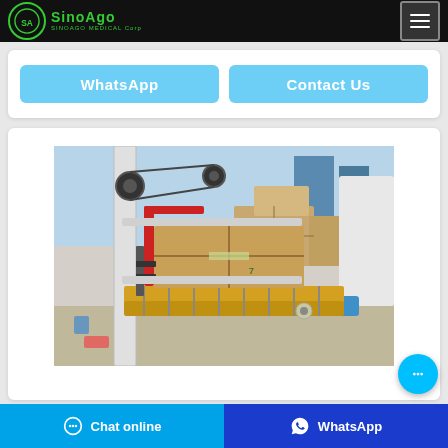SinoAgo Medical Corp
WhatsApp  Contact Us
[Figure (photo): Factory/manufacturing scene showing a box sealing/taping machine on a conveyor belt with cardboard boxes, with a worker in white lab coat and blue gloves visible in background]
Chat online  WhatsApp